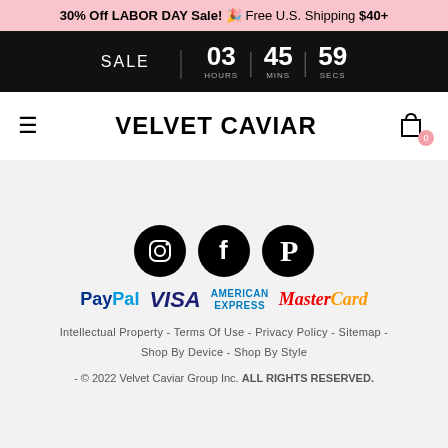30% Off LABOR DAY Sale! 🎉 Free U.S. Shipping $40+
[Figure (infographic): Sale countdown timer showing SALE | 03 HOURS | 45 MINS | 59 SECS on black background]
VELVET CAVIAR
[Figure (infographic): Social media icons: Instagram, Facebook, Pinterest (black circles)]
[Figure (infographic): Payment logos: PayPal, VISA, AMERICAN EXPRESS, MasterCard]
Intellectual Property - Terms Of Use - Privacy Policy - Sitemap - Shop By Device - Shop By Style
- © 2022 Velvet Caviar Group Inc. ALL RIGHTS RESERVED.